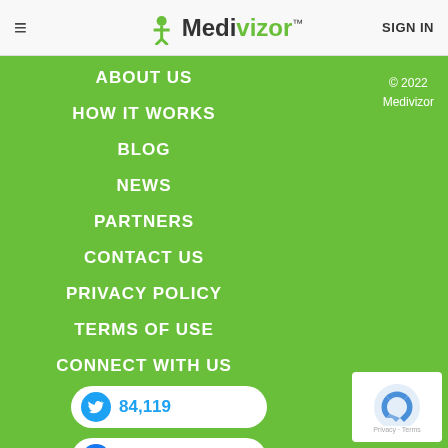≡  Medivizor™  SIGN IN
ABOUT US
HOW IT WORKS
BLOG
NEWS
PARTNERS
CONTACT US
PRIVACY POLICY
TERMS OF USE
CONNECT WITH US
© 2022 Medivizor
[Figure (other): Twitter social button showing 84,119 followers]
[Figure (other): Facebook social button showing 20,051 followers]
[Figure (other): reCAPTCHA badge with Privacy and Terms links]